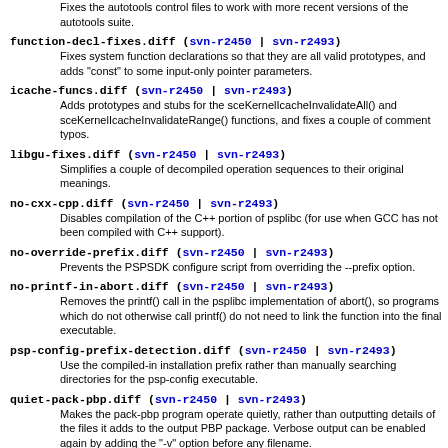Fixes the autotools control files to work with more recent versions of the autotools suite.
function-decl-fixes.diff (svn-r2450 | svn-r2493) Fixes system function declarations so that they are all valid prototypes, and adds "const" to some input-only pointer parameters.
icache-funcs.diff (svn-r2450 | svn-r2493) Adds prototypes and stubs for the sceKernelIcacheInvalidateAll() and sceKernelIcacheInvalidateRange() functions, and fixes a couple of comment typos.
libgu-fixes.diff (svn-r2450 | svn-r2493) Simplifies a couple of decompiled operation sequences to their original meanings.
no-cxx-cpp.diff (svn-r2450 | svn-r2493) Disables compilation of the C++ portion of psplibc (for use when GCC has not been compiled with C++ support).
no-override-prefix.diff (svn-r2450 | svn-r2493) Prevents the PSPSDK configure script from overriding the --prefix option.
no-printf-in-abort.diff (svn-r2450 | svn-r2493) Removes the printf() call in the psplibc implementation of abort(), so programs which do not otherwise call printf() do not need to link the function into the final executable.
psp-config-prefix-detection.diff (svn-r2450 | svn-r2493) Use the compiled-in installation prefix rather than manually searching directories for the psp-config executable.
quiet-pack-pbp.diff (svn-r2450 | svn-r2493) Makes the pack-pbp program operate quietly, rather than outputting details of the files it adds to the output PBP package. Verbose output can be enabled again by adding the "-v" option before any filename.